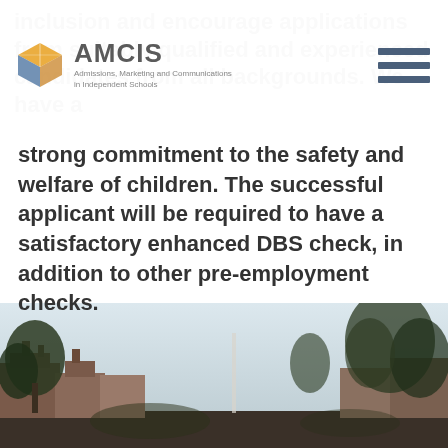[Figure (logo): AMCIS logo with geometric cube icon and text 'Admissions, Marketing and Communications in Independent Schools']
inclusion and encourage applications from suitably qualified and experienced candidates from all backgrounds. We have a strong commitment to the safety and welfare of children. The successful applicant will be required to have a satisfactory enhanced DBS check, in addition to other pre-employment checks.
[Figure (photo): Outdoor photo of brick buildings and trees against a light sky, visible at the bottom of the page]